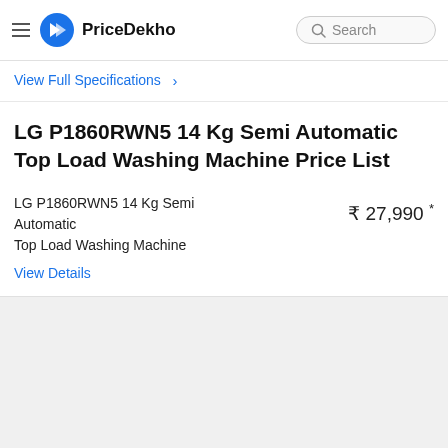PriceDekho
View Full Specifications >
LG P1860RWN5 14 Kg Semi Automatic Top Load Washing Machine Price List
LG P1860RWN5 14 Kg Semi Automatic Top Load Washing Machine
₹ 27,990 *
View Details